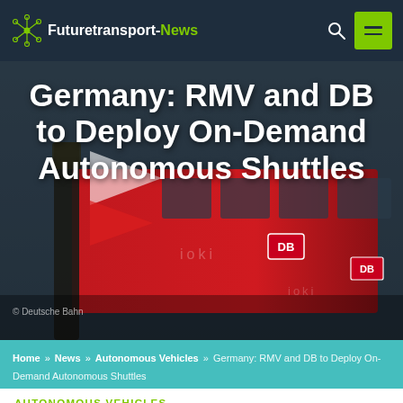Futuretransport-News
[Figure (photo): Background photo of a red Deutsche Bahn bus with DB logo visible, partially obscured by a tree trunk in the foreground. Low-light urban scene.]
Germany: RMV and DB to Deploy On-Demand Autonomous Shuttles
© Deutsche Bahn
Home » News » Autonomous Vehicles » Germany: RMV and DB to Deploy On-Demand Autonomous Shuttles
AUTONOMOUS VEHICLES
by Tiana May
PUBLISHED